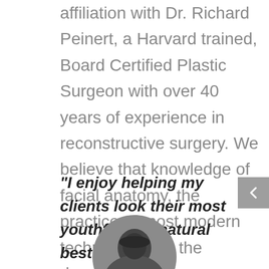affiliation with Dr. Richard Peinert, a Harvard trained, Board Certified Plastic Surgeon with over 40 years of experience in reconstructive surgery. We believe that knowledge of facial anatomy, the practice of most modern techniques and the development of personalized treatment plan, are vital for safe delivery of the best possible result.
“I enjoy helping my clients look their most youthful and natural best.”
~ Helen
[Figure (photo): Circular black and white portrait photo of Helen, partially visible at the bottom of the page]